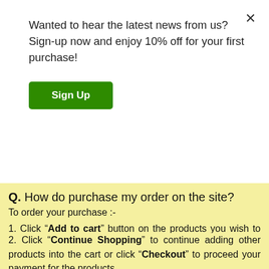Wanted to hear the latest news from us? Sign-up now and enjoy 10% off for your first purchase!
Sign Up
Q. How do purchase my order on the site?
To order your purchase :-
Click “Add to cart” button on the products you wish to purchase.
Click “Continue Shopping” to continue adding other products into the cart or click “Checkout” to proceed your payment for the products.
You'll reach a log in page where you need to log in your account using your Username and Password. If don't have an account created yet, you need to enter an account before you proceed your payment.